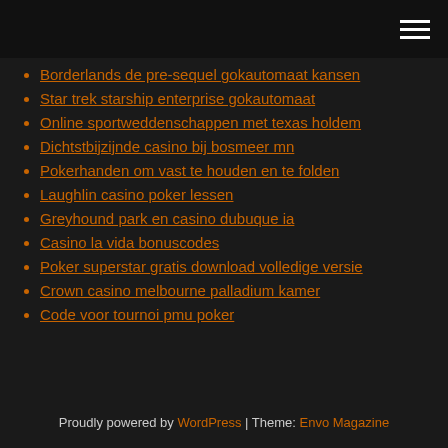Navigation menu header bar
Borderlands de pre-sequel gokautomaat kansen
Star trek starship enterprise gokautomaat
Online sportweddenschappen met texas holdem
Dichtstbijzijnde casino bij bosmeer mn
Pokerhanden om vast te houden en te folden
Laughlin casino poker lessen
Greyhound park en casino dubuque ia
Casino la vida bonuscodes
Poker superstar gratis download volledige versie
Crown casino melbourne palladium kamer
Code voor tournoi pmu poker
Proudly powered by WordPress | Theme: Envo Magazine